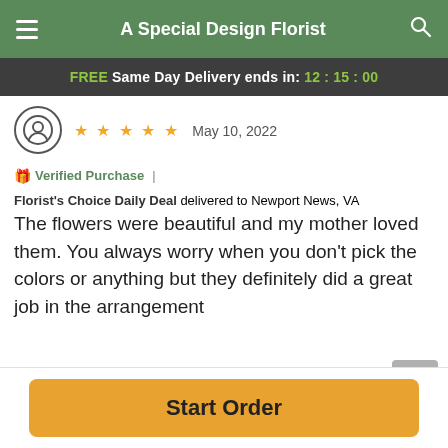A Special Design Florist
FREE Same Day Delivery ends in: 12:15:00
★★★★★ May 10, 2022
🎁 Verified Purchase | Florist's Choice Daily Deal delivered to Newport News, VA
The flowers were beautiful and my mother loved them. You always worry when you don't pick the colors or anything but they definitely did a great job in the arrangement
Reviews Sourced from Lovingly
You May Also Like
Start Order